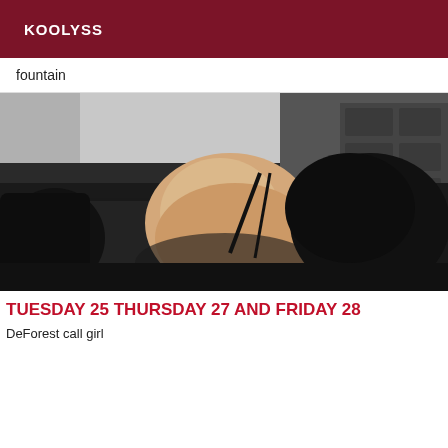KOOLYSS
fountain
[Figure (photo): A person lying on a dark surface, photographed from behind, wearing lingerie, with dark hair visible.]
TUESDAY 25 THURSDAY 27 AND FRIDAY 28
DeForest call girl